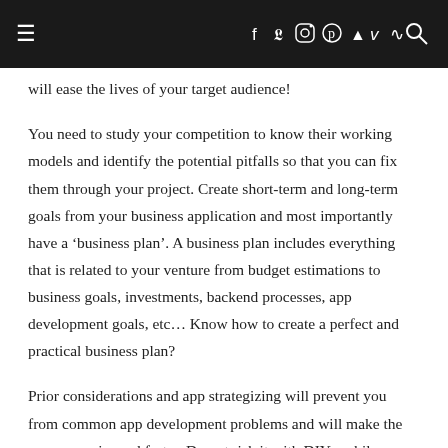≡  f  ʏ  ⊙  ℗  ◉  v  ≫  🔍
will ease the lives of your target audience!
You need to study your competition to know their working models and identify the potential pitfalls so that you can fix them through your project. Create short-term and long-term goals from your business application and most importantly have a 'business plan'. A business plan includes everything that is related to your venture from budget estimations to business goals, investments, backend processes, app development goals, etc… Know how to create a perfect and practical business plan?
Prior considerations and app strategizing will prevent you from common app development problems and will make the process easier and faster. Do not risk it with DIY mobile app development or depend on freelancers, it is highly recommended for you to hire the help of a professional mobile app development company – today's cheap is tomorrow's expense. A professional agency will certainly help you